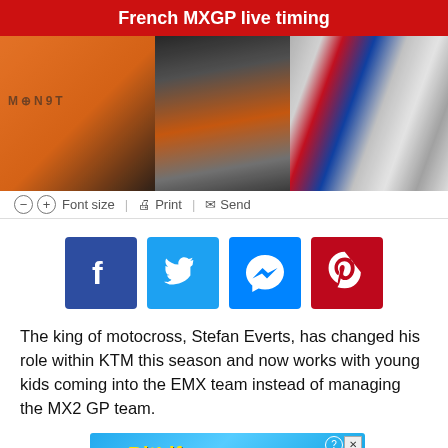French MXGP live timing
[Figure (photo): Motocross mechanics working on bikes in the paddock, with orange KTM bike visible and Monster Energy branding in background]
⊖  ⊕  Font size  |  🖨 Print  |  ✉ Send
[Figure (infographic): Social media share buttons: Facebook (dark blue), Twitter (blue), Messenger (blue), Pinterest (red)]
The king of motocross, Stefan Everts, has changed his role within KTM this season and now works with young kids coming into the EMX team instead of managing the MX2 GP team.
[Figure (photo): BitLife advertisement banner - NOW WITH GOD MODE, showing sperm mascot and pointing hand illustration on blue background]